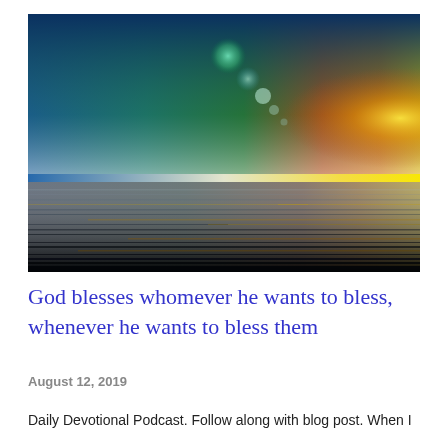[Figure (photo): A dramatic sunset or sunrise landscape showing a horizontal scene with vivid color gradients — deep blue on the left transitioning through teal and green to orange and bright yellow on the right, with lens flare effects near the top center. The scene reflects on a dark water surface below a bright horizon line, with horizontal motion-blur streaks in the lower portion.]
God blesses whomever he wants to bless, whenever he wants to bless them
August 12, 2019
Daily Devotional Podcast. Follow along with blog post. When I